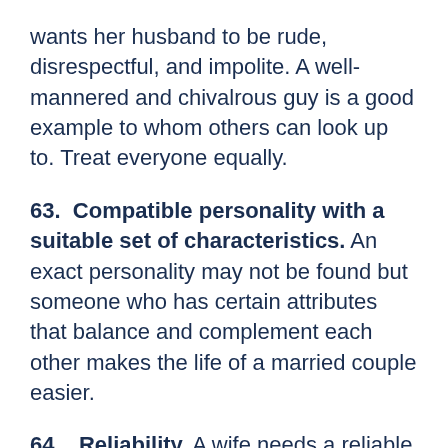wants her husband to be rude, disrespectful, and impolite. A well-mannered and chivalrous guy is a good example to whom others can look up to. Treat everyone equally.
63. Compatible personality with a suitable set of characteristics.
An exact personality may not be found but someone who has certain attributes that balance and complement each other makes the life of a married couple easier.
64. Reliability. A wife needs a reliable